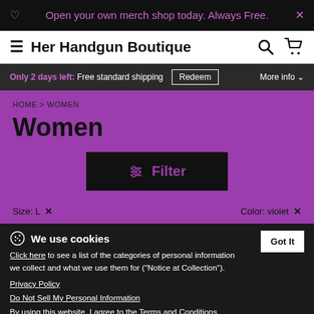Open your own merch shop today. Always Free.
Her Handgun Boutique
Only 2 days left: Free standard shipping  Redeem  More info
HOME > WOMEN
Women
Filter
Size: L ×    Color: violet ×
We use cookies
Click here to see a list of the categories of personal information we collect and what we use them for ("Notice at Collection").
Privacy Policy
Do Not Sell My Personal Information
By using this website, I agree to the Terms and Conditions